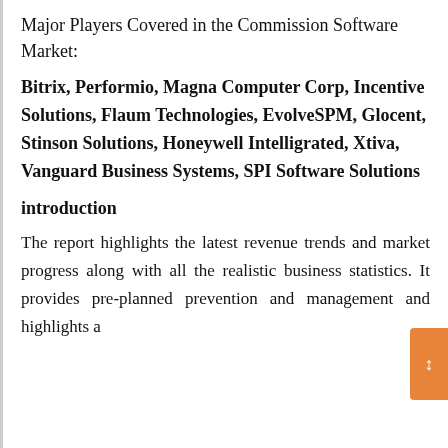Major Players Covered in the Commission Software Market:
Bitrix, Performio, Magna Computer Corp, Incentive Solutions, Flaum Technologies, EvolveSPM, Glocent, Stinson Solutions, Honeywell Intelligrated, Xtiva, Vanguard Business Systems, SPI Software Solutions
introduction
The report highlights the latest revenue trends and market progress along with all the realistic business statistics. It provides pre-planned prevention and management and highlights a